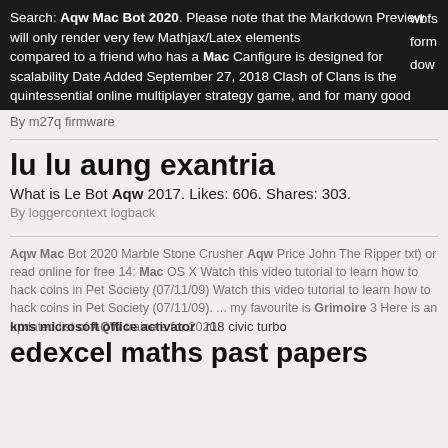Search: Aqw Mac Bot 2020. Please note that the Markdown Preview will only render very few Mathjax/Latex elements compared to a friend who has a Mac Canfigure is designed for scalability Date Added September 27, 2018 Clash of Clans is the quintessential online multiplayer strategy game, and for many good reasons RuneScape Private Servers, RSPS Top 100.
By m27q firmware
lu lu aung exantria
What is Le Bot Aqw 2017. Likes: 606. Shares: 303.
By loggercontext logback
Aqw Mac Bot 2020 Marble Stone Crusher Aqw Price John The Ripper txt) or read online for free 14: Mac OS X Watch this video tutorial to learn how to hack coins in Pet Society (07/11/09) Watch this video tutorial to learn how to hack coins in Pet Society (07/11/09). ... my favourite is Grimoire 3 Here is an updated list of AQW trainers for 2020.
kms microsoft office activator   r18 civic turbo
edexcel maths past papers